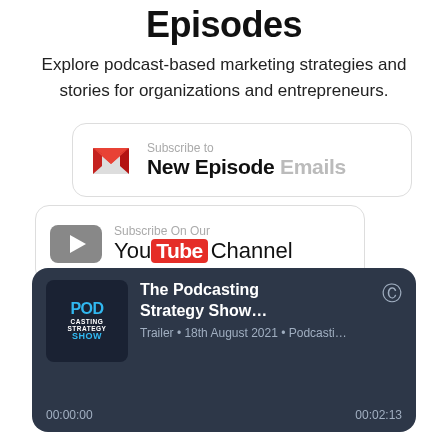Episodes
Explore podcast-based marketing strategies and stories for organizations and entrepreneurs.
[Figure (other): Subscribe to New Episode Emails button with Gmail icon]
[Figure (other): Subscribe On Our YouTube Channel button with YouTube icon]
[Figure (other): Podcast player card showing 'The Podcasting Strategy Show...' episode, Trailer, 18th August 2021, with timestamps 00:00:00 and 00:02:13]